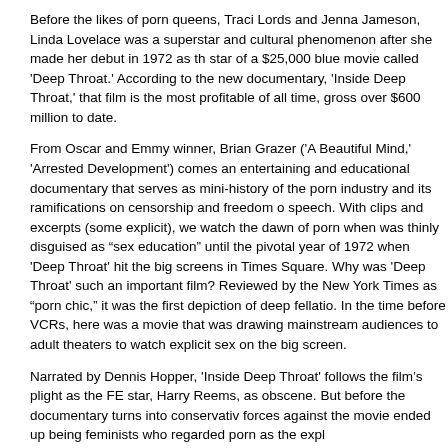Before the likes of porn queens, Traci Lords and Jenna Jameson, Linda Lovelace was a superstar and cultural phenomenon after she made her debut in 1972 as the star of a $25,000 blue movie called 'Deep Throat.' According to the new documentary, 'Inside Deep Throat,' that film is the most profitable of all time, grossing over $600 million to date.
From Oscar and Emmy winner, Brian Grazer ('A Beautiful Mind,' 'Arrested Development') comes an entertaining and educational documentary that serves as a mini-history of the porn industry and its ramifications on censorship and freedom of speech. With clips and excerpts (some explicit), we watch the dawn of porn when it was thinly disguised as "sex education" until the pivotal year of 1972 when 'Deep Throat' hit the big screens in Times Square. Why was 'Deep Throat' such an important film? Reviewed by the New York Times as "porn chic," it was the first depiction of deep fellatio. In the time before VCRs, here was a movie that was drawing mainstream audiences to adult theaters to watch explicit sex on the big screen.
Narrated by Dennis Hopper, 'Inside Deep Throat' follows the film's plight as the FBI prosecuted star, Harry Reems, as obscene. But before the documentary turns into conservative forces against the movie ended up being feminists who regarded porn as the exploitation
Illustrated with numerous new and archival interviews of director, Gerard Damiano, as well as John Waters, Erica Jong, Wes Craven, Dr. Ruth, Norman Mailer and Gore Vidal, this movie was important to both the adult and mainstream film industries. Fearing today's post- Janet Jackson-wardrobe-malfunction era, it's not hard to understand government under Nixon.
A nostalgic soundtrack powers the documentary – from early 70s pop rock to mid- the financial success of 'Deep Throat' signaled the beginning of an inevitable convergence conservative and feminist backlash kept the mainstream studios even further away